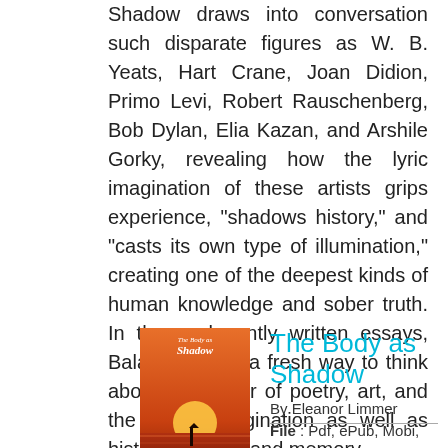Shadow draws into conversation such disparate figures as W. B. Yeats, Hart Crane, Joan Didion, Primo Levi, Robert Rauschenberg, Bob Dylan, Elia Kazan, and Arshile Gorky, revealing how the lyric imagination of these artists grips experience, "shadows history," and "casts its own type of illumination," creating one of the deepest kinds of human knowledge and sober truth. In these elegantly written essays, Balakian offers a fresh way to think about the power of poetry, art, and the lyrical imagination as well as history, trauma, and memory.
[Figure (illustration): Book cover of 'The Body as Shadow' by Eleanor Limmer, featuring an orange/red sunset over water with a silhouette]
The Body as Shadow
By Eleanor Limmer
File : Pdf, ePub, Mobi,